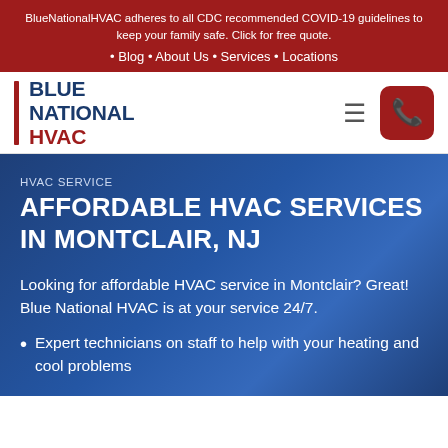BlueNationalHVAC adheres to all CDC recommended COVID-19 guidelines to keep your family safe. Click for free quote.
Blog • About Us • Services • Locations
[Figure (logo): Blue National HVAC logo with red vertical bar, blue stacked text BLUE NATIONAL HVAC]
HVAC SERVICE
AFFORDABLE HVAC SERVICES IN MONTCLAIR, NJ
Looking for affordable HVAC service in Montclair? Great! Blue National HVAC is at your service 24/7.
Expert technicians on staff to help with your heating and cool problems